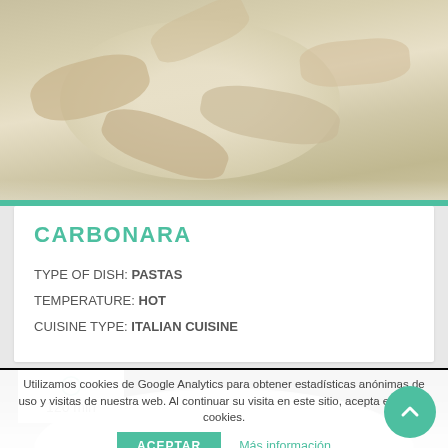[Figure (photo): Close-up photo of Carbonara pasta dish in a white bowl, creamy sauce with pasta pieces visible]
CARBONARA
TYPE OF DISH: PASTAS
TEMPERATURE: HOT
CUISINE TYPE: ITALIAN CUISINE
[Figure (photo): Photo of a white plate on dark background with clock icon and 120 min label]
Utilizamos cookies de Google Analytics para obtener estadísticas anónimas de uso y visitas de nuestra web. Al continuar su visita en este sitio, acepta el uso de cookies.
ACEPTAR
Más información